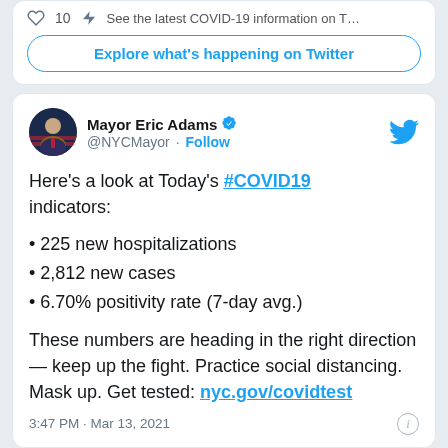10  See the latest COVID-19 information on T...
Explore what's happening on Twitter
Mayor Eric Adams @NYCMayor · Follow
Here's a look at Today's #COVID19 indicators:
225 new hospitalizations
2,812 new cases
6.70% positivity rate (7-day avg.)
These numbers are heading in the right direction — keep up the fight. Practice social distancing. Mask up. Get tested: nyc.gov/covidtest
3:47 PM · Mar 13, 2021